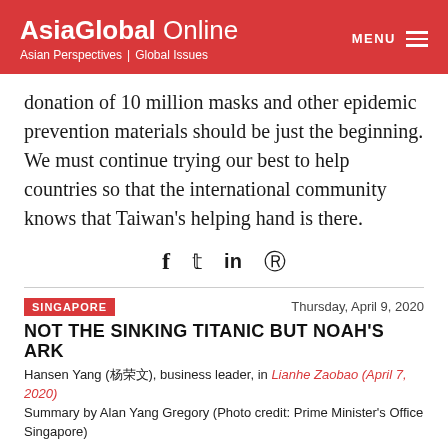AsiaGlobal Online — Asian Perspectives | Global Issues
donation of 10 million masks and other epidemic prevention materials should be just the beginning. We must continue trying our best to help countries so that the international community knows that Taiwan's helping hand is there.
[Figure (infographic): Social share icons: Facebook (f), Twitter (bird), LinkedIn (in), Reddit (alien icon)]
SINGAPORE — Thursday, April 9, 2020
NOT THE SINKING TITANIC BUT NOAH'S ARK
Hansen Yang (杨荣文), business leader, in Lianhe Zaobao (April 7, 2020) Summary by Alan Yang Gregory (Photo credit: Prime Minister's Office Singapore)
[Figure (photo): Interior ceiling photo showing warm wooden panels and circular ceiling light fixture, from Prime Minister's Office Singapore]